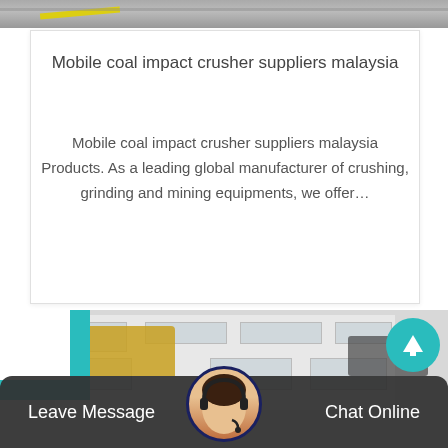[Figure (photo): Top portion of a photo showing road/ground surface with yellow line and gray tones]
Mobile coal impact crusher suppliers malaysia
Mobile coal impact crusher suppliers malaysia Products. As a leading global manufacturer of crushing, grinding and mining equipments, we offer…
[Figure (photo): Photo of a factory/industrial building with crusher machinery in foreground, teal decorative bracket in top-left corner and scroll-to-top button in top-right]
Leave Message   Chat Online